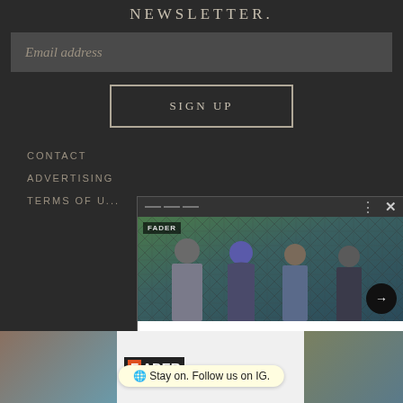NEWSLETTER.
Email address
SIGN UP
CONTACT
ADVERTISING
TERMS OF U...
[Figure (photo): Overlay card showing four band members standing by a chain-link fence, with a headline reading 'NOFX will disband in 2023']
[Figure (screenshot): Bottom advertisement bar showing FADER logo with 'Stay on. Follow us on IG.' call to action and a concert photo]